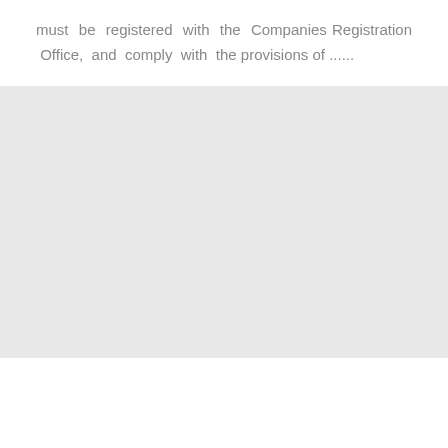must be registered with the Companies Registration Office, and comply with the provisions of ......